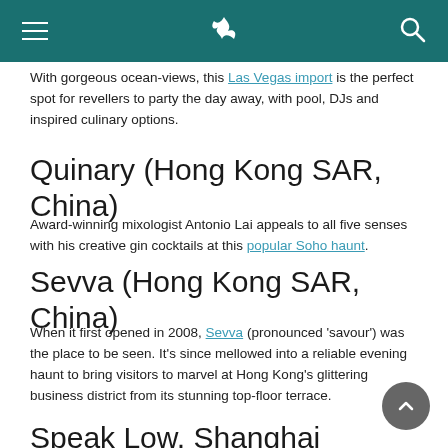[Cathay Pacific header with hamburger menu, logo, and search icon]
With gorgeous ocean-views, this Las Vegas import is the perfect spot for revellers to party the day away, with pool, DJs and inspired culinary options.
Quinary (Hong Kong SAR, China)
Award-winning mixologist Antonio Lai appeals to all five senses with his creative gin cocktails at this popular Soho haunt.
Sevva (Hong Kong SAR, China)
When it first opened in 2008, Sevva (pronounced 'savour') was the place to be seen. It's since mellowed into a reliable evening haunt to bring visitors to marvel at Hong Kong's glittering business district from its stunning top-floor terrace.
Speak Low, Shanghai (China)
With a hidden entrance, this Shanghai-based speakeasy creates a different vibe on each of its four floors to offer